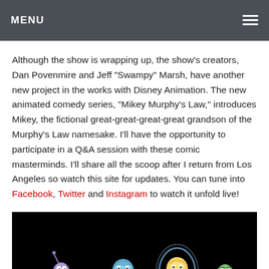MENU
Although the show is wrapping up, the show's creators, Dan Povenmire and Jeff “Swampy” Marsh, have another new project in the works with Disney Animation. The new animated comedy series, “Mikey Murphy’s Law,” introduces Mikey, the fictional great-great-great-great grandson of the Murphy's Law namesake. I’ll have the opportunity to participate in a Q&A session with these comic masterminds. I’ll share all the scoop after I return from Los Angeles so watch this site for updates. You can tune into Facebook, Twitter and Instagram to watch it unfold live!
[Figure (photo): Dark image showing animated characters from Inside Out (Pixar) including Fear (purple), Sadness (blue with glasses), Joy (blue-glowing yellow), and Disgust (green) against a black background.]